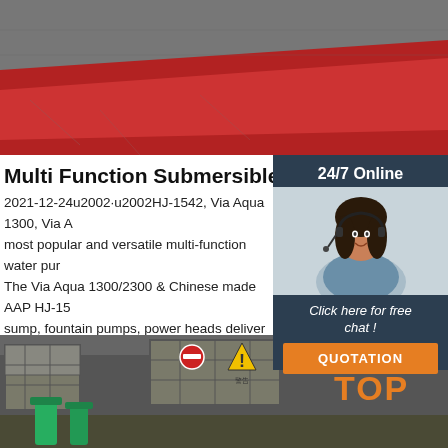[Figure (photo): Top photo showing red carpet/pavement with dark structures, outdoor scene]
Multi Function Submersible Aquarium/Fountain
2021-12-24u2002·u2002HJ-1542, Via Aqua 1300, Via A most popular and versatile multi-function water pur The Via Aqua 1300/2300 & Chinese made AAP HJ-15 sump, fountain pumps, power heads deliver high p affordable price. Sealed, internal housing insures q
[Figure (photo): Customer service representative - woman with headset, smiling, sidebar chat widget with 24/7 Online label]
Click here for free chat !
QUOTATION
Get Price
[Figure (photo): Bottom photo showing outdoor industrial/construction area with concrete blocks, warning signs, green pipes, and TOP watermark in orange]